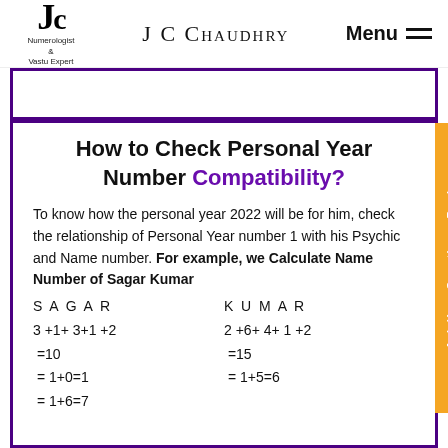J C Chaudhry — Numerologist & Vastu Expert
How to Check Personal Year Number Compatibility?
To know how the personal year 2022 will be for him, check the relationship of Personal Year number 1 with his Psychic and Name number. For example, we Calculate Name Number of Sagar Kumar
S A G A R    K U M A R
3 +1+ 3+1 +2    2 +6+ 4+ 1 +2
 =10    =15
 = 1+0=1    = 1+5=6
 = 1+6=7